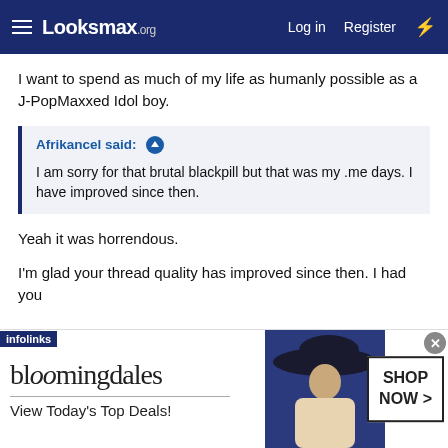Looksmax.org — Log in | Register
I want to spend as much of my life as humanly possible as a J-PopMaxxed Idol boy.
Afrikancel said: ↑
I am sorry for that brutal blackpill but that was my .me days. I have improved since then.
Yeah it was horrendous.
I'm glad your thread quality has improved since then. I had you
[Figure (screenshot): Bloomingdales advertisement banner with model in hat. Text: bloomingdales, View Today's Top Deals!, SHOP NOW >]